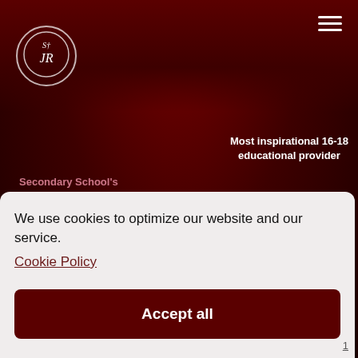[Figure (screenshot): Dark red school website header with circular logo showing stylized 'SR' initials with a cross, and hamburger menu icon on the right. Partially visible award text reads 'Most inspirational 16-18 educational provider' and partial text 'Secondary School's']
We use cookies to optimize our website and our service.
Cookie Policy
Accept all
Functional only
View preferences
1